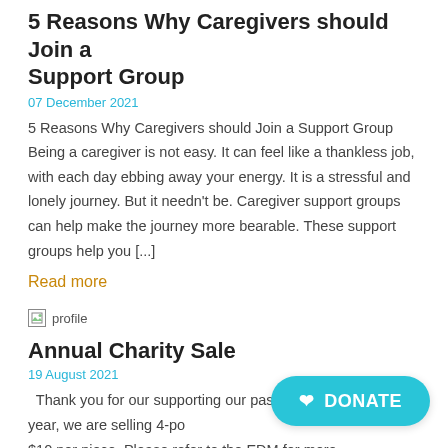5 Reasons Why Caregivers should Join a Support Group
07 December 2021
5 Reasons Why Caregivers should Join a Support Group Being a caregiver is not easy. It can feel like a thankless job, with each day ebbing away your energy. It is a stressful and lonely journey. But it needn't be. Caregiver support groups can help make the journey more bearable. These support groups help you [...]
Read more
[Figure (photo): Profile image placeholder icon]
Annual Charity Sale
19 August 2021
Thank you for our supporting our past ye... charity sale. This year, we are selling 4-po... $10 per piece. Please refer to the EDM for more...
[Figure (other): DONATE button with heart icon]